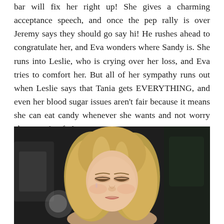bar will fix her right up! She gives a charming acceptance speech, and once the pep rally is over Jeremy says they should go say hi! He rushes ahead to congratulate her, and Eva wonders where Sandy is. She runs into Leslie, who is crying over her loss, and Eva tries to comfort her. But all of her sympathy runs out when Leslie says that Tania gets EVERYTHING, and even her blood sugar issues aren't fair because it means she can eat candy whenever she wants and not worry about getting fat!
[Figure (photo): A blonde woman with shoulder-length hair, eyes closed, appearing emotional or crying, photographed in a dark indoor setting]